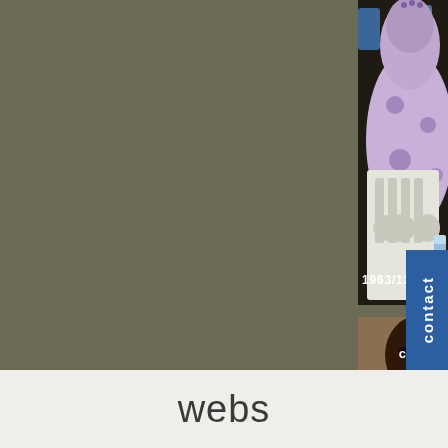[Figure (photo): Photo of a person in a light purple/lavender robe or garment sitting on a white plastic chair, viewed from behind. A blue plastic chair is visible in the background. A timestamp '1963/12/14 03:44:11' is overlaid on the image in white text.]
[Figure (photo): Photo of two African men, one facing forward and one in profile, appearing to be seated. A blue 'contact' button/tab is visible on the right edge.]
webs